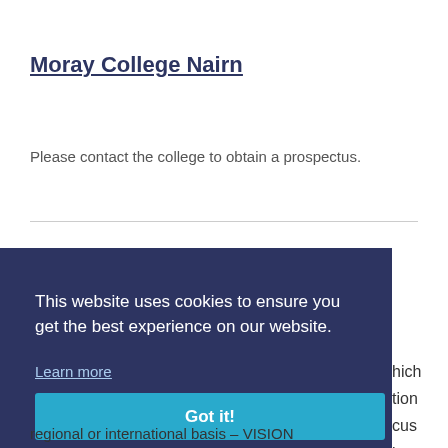Moray College Nairn
Please contact the college to obtain a prospectus.
This website uses cookies to ensure you get the best experience on our website.
Learn more
Got it!
regional or international basis – VISION